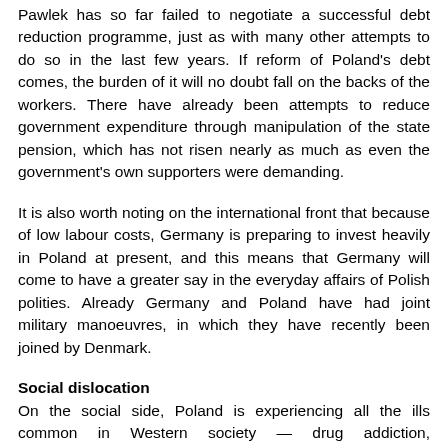Pawlek has so far failed to negotiate a successful debt reduction programme, just as with many other attempts to do so in the last few years. If reform of Poland's debt comes, the burden of it will no doubt fall on the backs of the workers. There have already been attempts to reduce government expenditure through manipulation of the state pension, which has not risen nearly as much as even the government's own supporters were demanding.
It is also worth noting on the international front that because of low labour costs, Germany is preparing to invest heavily in Poland at present, and this means that Germany will come to have a greater say in the everyday affairs of Polish polities. Already Germany and Poland have had joint military manoeuvres, in which they have recently been joined by Denmark.
Social dislocation
On the social side, Poland is experiencing all the ills common in Western society — drug addiction, homelessness, organized crime, mugging, pornography and gambling. At the moment it is estimated that 20,000 people